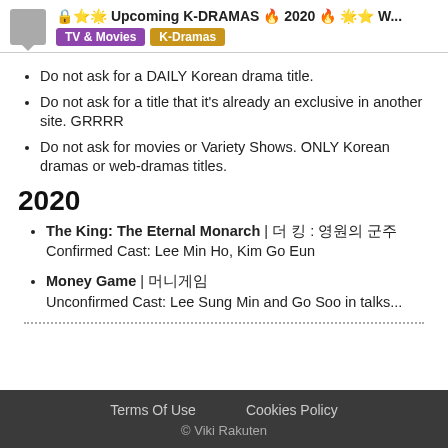🔒⭐ Upcoming K-DRAMAS 🔥 2020 🔥 ⭐ W... | TV & Movies | K-Dramas
Do not ask for a DAILY Korean drama title.
Do not ask for a title that it's already an exclusive in another site. GRRRR
Do not ask for movies or Variety Shows. ONLY Korean dramas or web-dramas titles.
2020
The King: The Eternal Monarch | 더 킹 : 영원의 군주
Confirmed Cast: Lee Min Ho, Kim Go Eun
Money Game | 머니게임
Unconfirmed Cast: Lee Sung Min and Go Soo in talks...
Terms Of Use    Cookies Policy
© Viki Rakuten